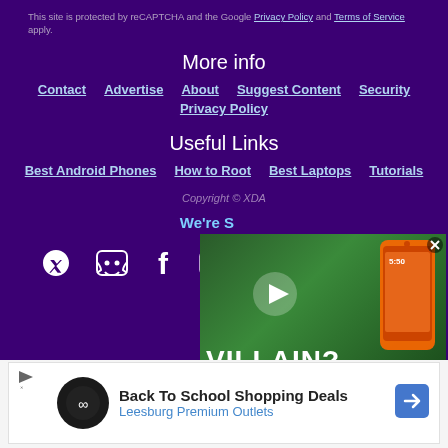This site is protected by reCAPTCHA and the Google Privacy Policy and Terms of Service apply.
More info
Contact
Advertise
About
Suggest Content
Security
Privacy Policy
Useful Links
Best Android Phones
How to Root
Best Laptops
Tutorials
Copyright © XDA
We're S...
[Figure (screenshot): Video player overlay showing a smartphone with 'VILLAIN?' text and a play button over a green background]
[Figure (other): Social media icons: Twitter, Discord, Facebook, and another icon]
[Figure (other): Advertisement banner: Back To School Shopping Deals - Leesburg Premium Outlets with logo and navigation arrow]